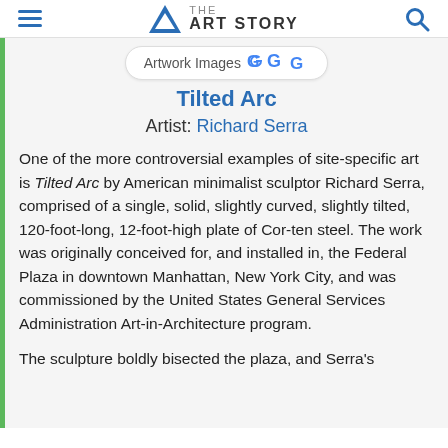THE ART STORY
Artwork Images
Tilted Arc
Artist: Richard Serra
One of the more controversial examples of site-specific art is Tilted Arc by American minimalist sculptor Richard Serra, comprised of a single, solid, slightly curved, slightly tilted, 120-foot-long, 12-foot-high plate of Cor-ten steel. The work was originally conceived for, and installed in, the Federal Plaza in downtown Manhattan, New York City, and was commissioned by the United States General Services Administration Art-in-Architecture program.
The sculpture boldly bisected the plaza, and Serra's